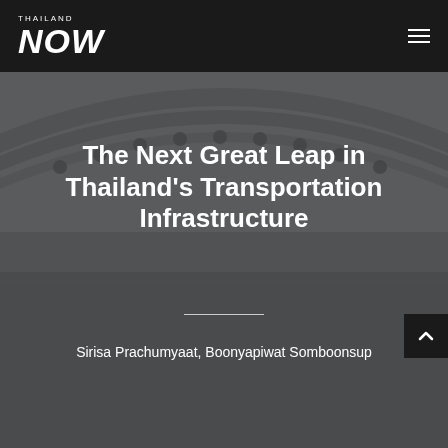THAILAND NOW
The Next Great Leap in Thailand's Transportation Infrastructure
Sirisa Prachumyaat, Boonyapiwat Somboonsup